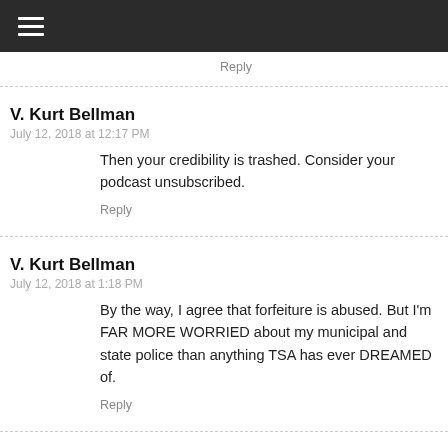☰
Reply
V. Kurt Bellman
July 12, 2018 at 12:17 PM
Then your credibility is trashed. Consider your podcast unsubscribed.
Reply
V. Kurt Bellman
July 12, 2018 at 1:18 PM
By the way, I agree that forfeiture is abused. But I'm FAR MORE WORRIED about my municipal and state police than anything TSA has ever DREAMED of.
Reply
V. Kurt Bellman